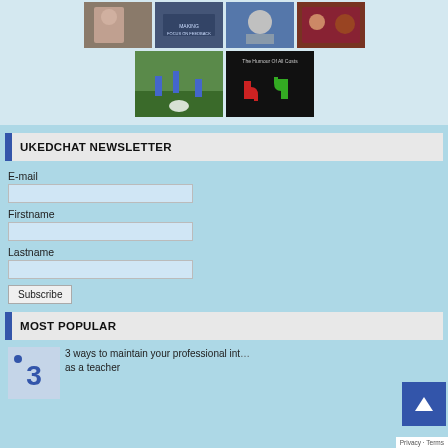[Figure (photo): Grid of thumbnail images including soccer players on field and thumbs up/down graphic on dark background]
UKEDCHAT NEWSLETTER
E-mail
Firstname
Lastname
Subscribe
MOST POPULAR
3 ways to maintain your professional int... as a teacher